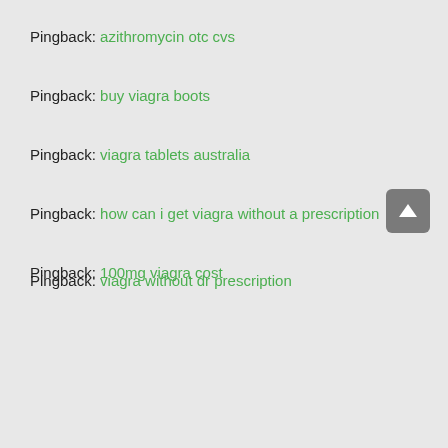Pingback: azithromycin otc cvs
Pingback: buy viagra boots
Pingback: viagra tablets australia
Pingback: how can i get viagra without a prescription
Pingback: 100mg viagra cost
Pingback: viagra without dr prescription